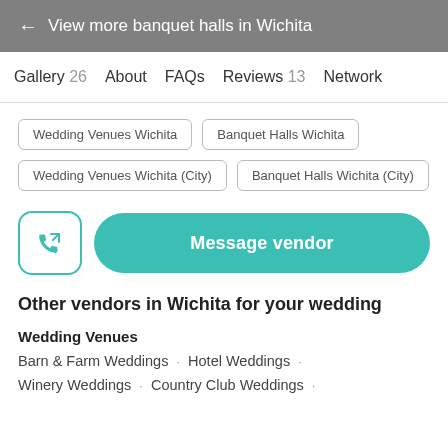← View more banquet halls in Wichita
Gallery 26  About  FAQs  Reviews 13  Network
Wedding Venues Wichita
Banquet Halls Wichita
Wedding Venues Wichita (City)
Banquet Halls Wichita (City)
Message vendor
Other vendors in Wichita for your wedding
Wedding Venues
Barn & Farm Weddings · Hotel Weddings ·
Winery Weddings · Country Club Weddings ·